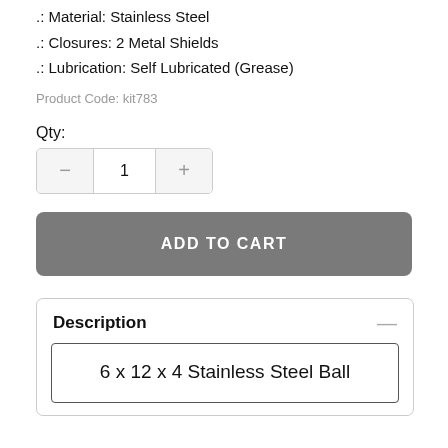.: Type: Deep Groove Ball Bearings
.: Material: Stainless Steel
.: Closures: 2 Metal Shields
.: Lubrication: Self Lubricated (Grease)
Product Code: kit783
Qty:
1
ADD TO CART
Description
6 x 12 x 4 Stainless Steel Ball